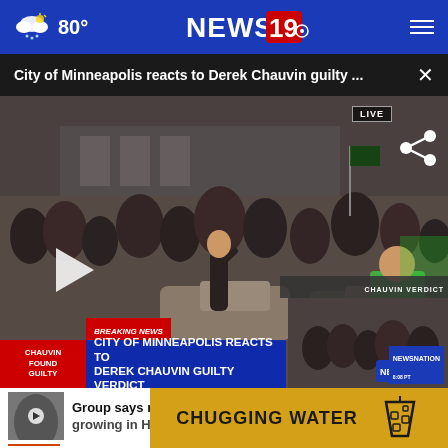NEWS 19 — 80°
City of Minneapolis reacts to Derek Chauvin guilty ... ×
[Figure (screenshot): News broadcast screenshot showing crowd gathering in Minneapolis after Derek Chauvin guilty verdict. Lower-third breaking news banner reads 'CITY OF MINNEAPOLIS REACTS TO DEREK CHAUVIN GUILTY VERDICT'. LIVE badge in top right. Share icon visible. Secondary thumbnail in bottom right with NewsNation logo.]
Group says mental health needs growing in Huntsville
[Figure (screenshot): Advertisement banner with golden/yellow background reading 'CHUGGING WATER' with an illustration of a cup with ice. Partially visible text 'on' on the right.]